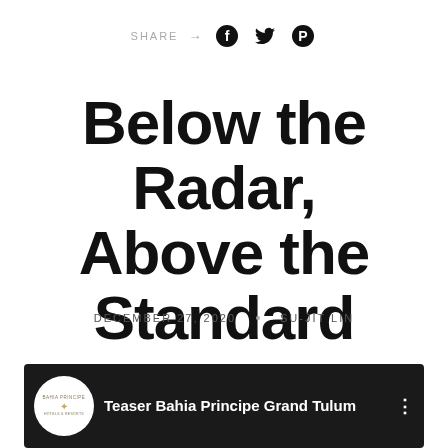SHARE → (Facebook) (Twitter) (Pinterest)
Below the Radar, Above the Standard
DECEMBER 27, 2020    SU-JIT LIN
[Figure (screenshot): Embedded YouTube video thumbnail showing Bahia Principe Grand Tulum aerial resort view with Bahia Principe logo and title 'Teaser Bahia Principe Grand Tulum']